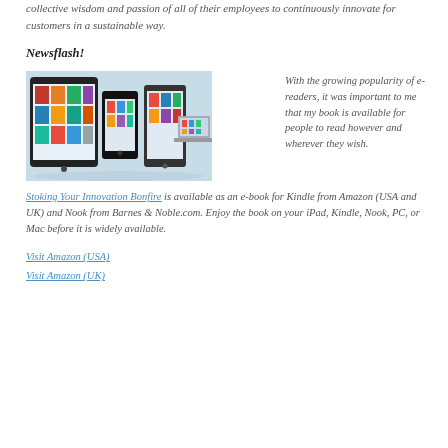collective wisdom and passion of all of their employees to continuously innovate for customers in a sustainable way.
Newsflash!
[Figure (photo): Multiple e-reader devices including a tablet, smartphone, and laptop displaying colorful book covers in an app store or e-reader interface]
With the growing popularity of e-readers, it was important to me that my book is available for people to read however and wherever they wish. Stoking Your Innovation Bonfire is available as an e-book for Kindle from Amazon (USA and UK) and Nook from Barnes & Noble.com. Enjoy the book on your iPad, Kindle, Nook, PC, or Mac before it is widely available.
Visit Amazon (USA)
Visit Amazon (UK)